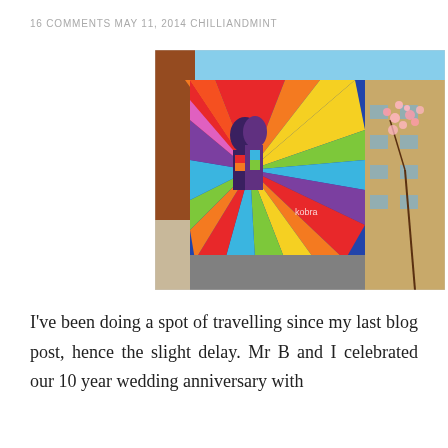16 COMMENTS MAY 11, 2014 CHILLIANDMINT
[Figure (photo): Colorful street mural on a building wall depicting the iconic VJ Day kiss figure in a rainbow burst pattern, with surrounding urban buildings and pink cherry blossoms visible on the right side. The mural is signed 'Kobra'.]
I've been doing a spot of travelling since my last blog post, hence the slight delay. Mr B and I celebrated our 10 year wedding anniversary with